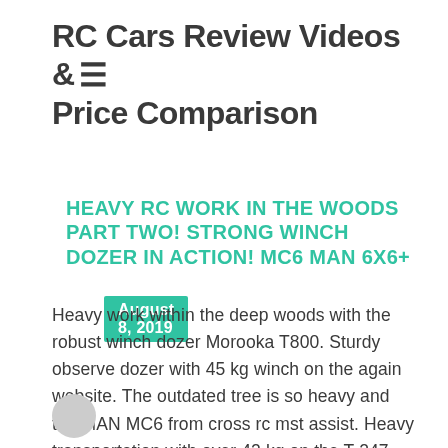RC Cars Review Videos & Price Comparison
August 8, 2019
HEAVY RC WORK IN THE WOODS PART TWO! STRONG WINCH DOZER IN ACTION! MC6 MAN 6X6+
Heavy work within the deep woods with the robust winch dozer Morooka T800. Sturdy observe dozer with 45 kg winch on the again website. The outdated tree is so heavy and the MAN MC6 from cross rc mst assist. Heavy transportation with over 42 kg on the T-247 Watch this cool video and injiy it. […]